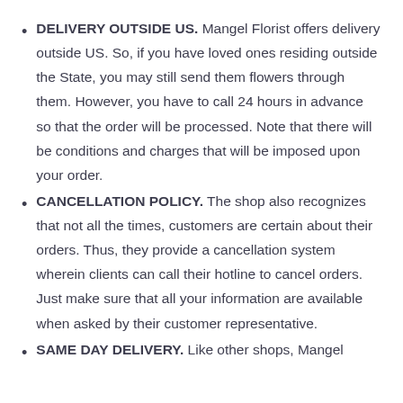DELIVERY OUTSIDE US. Mangel Florist offers delivery outside US. So, if you have loved ones residing outside the State, you may still send them flowers through them. However, you have to call 24 hours in advance so that the order will be processed. Note that there will be conditions and charges that will be imposed upon your order.
CANCELLATION POLICY. The shop also recognizes that not all the times, customers are certain about their orders. Thus, they provide a cancellation system wherein clients can call their hotline to cancel orders. Just make sure that all your information are available when asked by their customer representative.
SAME DAY DELIVERY. Like other shops, Mangel